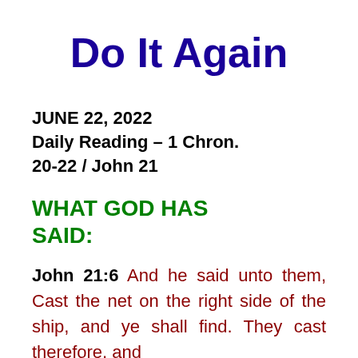Do It Again
JUNE 22, 2022
Daily Reading – 1 Chron. 20-22 / John 21
WHAT GOD HAS SAID:
John 21:6 And he said unto them, Cast the net on the right side of the ship, and ye shall find. They cast therefore, and